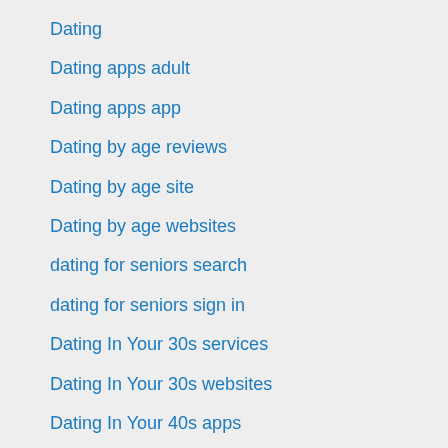Dating
Dating apps adult
Dating apps app
Dating by age reviews
Dating by age site
Dating by age websites
dating for seniors search
dating for seniors sign in
Dating In Your 30s services
Dating In Your 30s websites
Dating In Your 40s apps
Dating In Your 40s local
Dating In Your 40s sites
dating latin singles
Dating Over 60 services